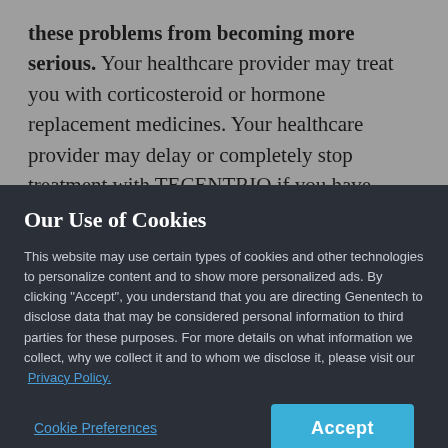these problems from becoming more serious. Your healthcare provider may treat you with corticosteroid or hormone replacement medicines. Your healthcare provider may delay or completely stop treatment with TECENTRIQ if you have severe side effects.
Our Use of Cookies
This website may use certain types of cookies and other technologies to personalize content and to show more personalized ads. By clicking "Accept", you understand that you are directing Genentech to disclose data that may be considered personal information to third parties for these purposes. For more details on what information we collect, why we collect it and to whom we disclose it, please visit our Privacy Policy.
Cookie Preferences
Accept